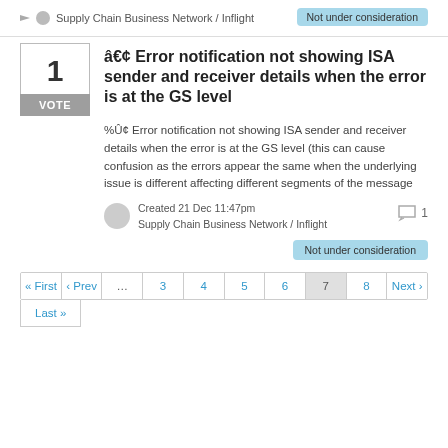Supply Chain Business Network / Inflight
Not under consideration
[Figure (infographic): Vote box showing 1 vote with VOTE label]
â€¢ Error notification not showing ISA sender and receiver details when the error is at the GS level
%Ûé Error notification not showing ISA sender and receiver details when the error is at the GS level (this can cause confusion as the errors appear the same when the underlying issue is different affecting different segments of the message
Created 21 Dec 11:47pm
Supply Chain Business Network / Inflight
1
Not under consideration
« First ‹ Prev … 3 4 5 6 7 8 Next › Last »